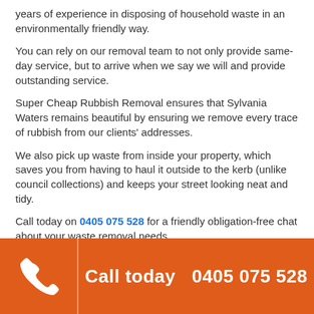years of experience in disposing of household waste in an environmentally friendly way.
You can rely on our removal team to not only provide same-day service, but to arrive when we say we will and provide outstanding service.
Super Cheap Rubbish Removal ensures that Sylvania Waters remains beautiful by ensuring we remove every trace of rubbish from our clients' addresses.
We also pick up waste from inside your property, which saves you from having to haul it outside to the kerb (unlike council collections) and keeps your street looking neat and tidy.
Call today on 0405 075 528 for a friendly obligation-free chat about your waste removal needs.
Alternatively, click on our QUOTES tab to find out more about how we can help to clear the clutter from your Sylvania Waters property.
[Figure (infographic): Orange footer bar with white phone icon on the left and text 'Call today 0405 075 528' in white bold on the right.]